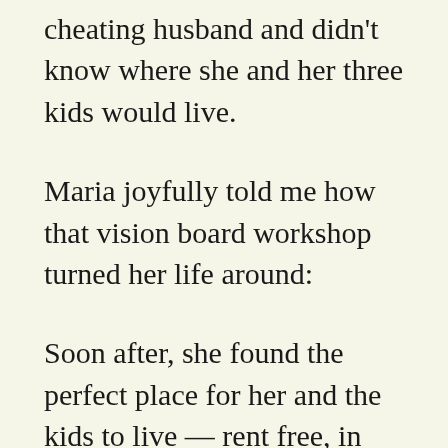cheating husband and didn't know where she and her three kids would live.
Maria joyfully told me how that vision board workshop turned her life around:
Soon after, she found the perfect place for her and the kids to live — rent free, in exchange for light housekeeping. She also got a full scholarship to go back and finish college. And now she'd received a full scholarship to grad